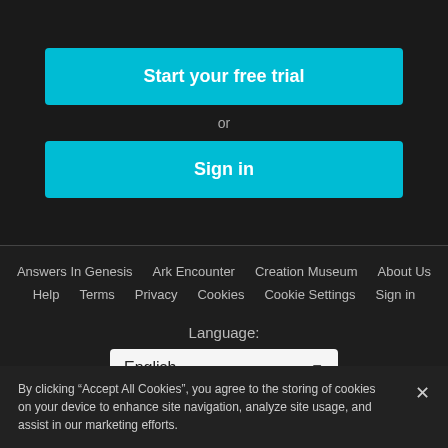Start your free trial
or
Sign in
Answers In Genesis   Ark Encounter   Creation Museum   About Us   Help   Terms   Privacy   Cookies   Cookie Settings   Sign in
Language:
English
By clicking “Accept All Cookies”, you agree to the storing of cookies on your device to enhance site navigation, analyze site usage, and assist in our marketing efforts.